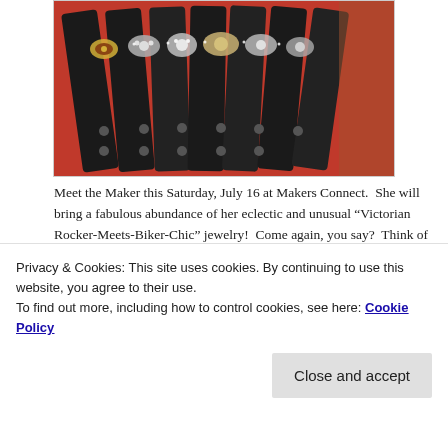[Figure (photo): Photo of decorative leather cuff bracelets displayed in a red case, adorned with various rhinestones, cameos, and metallic ornaments arranged in rows.]
Meet the Maker this Saturday, July 16 at Makers Connect.  She will bring a fabulous abundance of her eclectic and unusual “Victorian Rocker-Meets-Biker-Chic” jewelry!  Come again, you say?  Think of rhinestones and skeletons; tintypes and old leather….ancient Egypt meets the Silver Screen!
Privacy & Cookies: This site uses cookies. By continuing to use this website, you agree to their use.
To find out more, including how to control cookies, see here: Cookie Policy
Close and accept